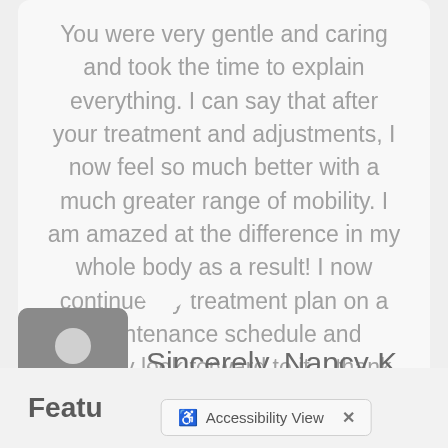You were very gentle and caring and took the time to explain everything. I can say that after your treatment and adjustments, I now feel so much better with a much greater range of mobility. I am amazed at the difference in my whole body as a result! I now continue my treatment plan on a maintenance schedule and actually look forward to it. I thank you again!
[Figure (illustration): Gray avatar/profile icon placeholder showing a silhouette of a person]
Sincerely, Nancy K.
Featu
Accessibility View ×